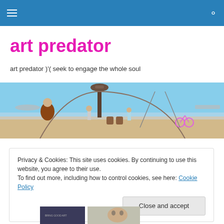art predator — navigation and search bar
art predator
art predator )'( seek to engage the whole soul
[Figure (photo): Outdoor festival scene at Burning Man with people, large sculptural installations, swings and desert landscape under blue sky]
Privacy & Cookies: This site uses cookies. By continuing to use this website, you agree to their use.
To find out more, including how to control cookies, see here: Cookie Policy
Close and accept
[Figure (photo): Partial bottom strip showing a photo thumbnail]